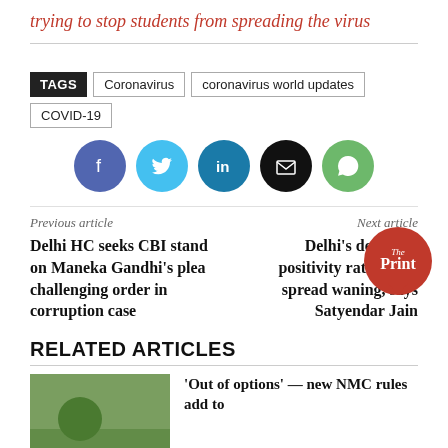trying to stop students from spreading the virus
TAGS: Coronavirus, coronavirus world updates, COVID-19
[Figure (infographic): Social share buttons: Facebook (purple), Twitter (cyan), LinkedIn (teal), Email (black), WhatsApp (green)]
Previous article | Next article
Delhi HC seeks CBI stand on Maneka Gandhi's plea challenging order in corruption case
Delhi's declining positivity rate shows spread waning, says Satyendar Jain
RELATED ARTICLES
'Out of options' — new NMC rules add to